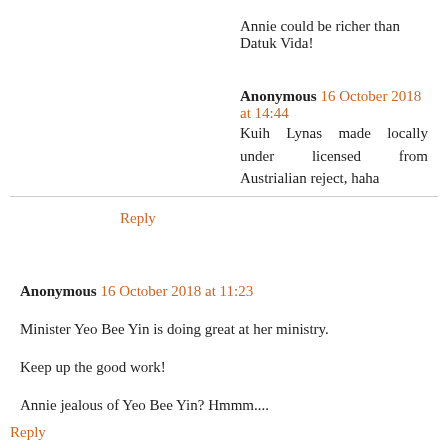Annie could be richer than Datuk Vida!
Anonymous 16 October 2018 at 14:44
Kuih Lynas made locally under licensed from Austrialian reject, haha
Reply
Anonymous 16 October 2018 at 11:23
Minister Yeo Bee Yin is doing great at her ministry.
Keep up the good work!
Annie jealous of Yeo Bee Yin? Hmmm....
Reply